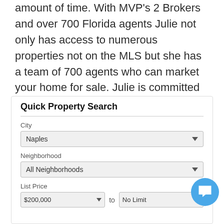amount of time. With MVP's 2 Brokers and over 700 Florida agents Julie not only has access to numerous properties not on the MLS but she has a team of 700 agents who can market your home for sale. Julie is committed to great customer service and finding you the right home!
Quick Property Search
City
Naples
Neighborhood
All Neighborhoods
List Price
$200,000 to No Limit